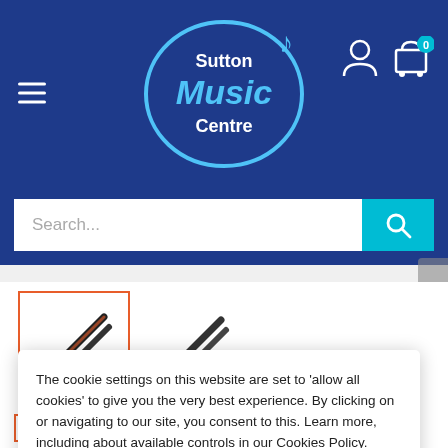[Figure (logo): Sutton Music Centre logo on dark blue navigation bar with hamburger menu, user account icon, and cart icon showing 0 items]
Search...
[Figure (photo): Two drumsticks/mallets shown at an angle - first image selected (orange border), second image without border]
The cookie settings on this website are set to 'allow all cookies' to give you the very best experience. By clicking on or navigating to our site, you consent to this. Learn more, including about available controls in our Cookies Policy.
Accept